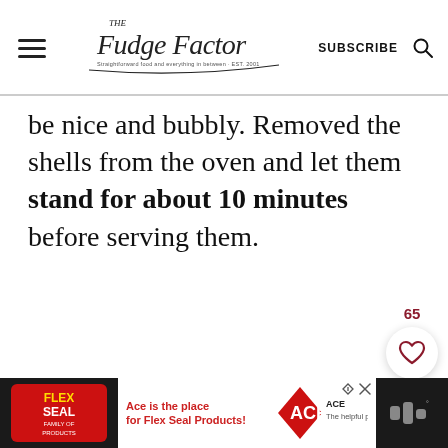The Fudge Factor — SUBSCRIBE
be nice and bubbly. Removed the shells from the oven and let them stand for about 10 minutes before serving them.
[Figure (screenshot): Floating action buttons: heart/like button with count 65, and a search button]
[Figure (screenshot): Advertisement bar: Flex Seal Family of Products — Ace is the place for Flex Seal Products! ACE The helpful place.]